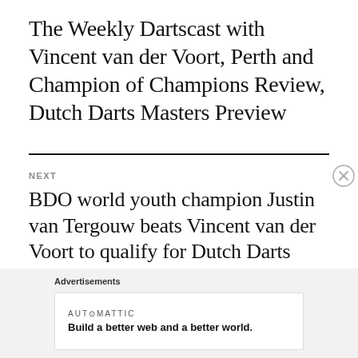The Weekly Dartscast with Vincent van der Voort, Perth and Champion of Champions Review, Dutch Darts Masters Preview
NEXT
BDO world youth champion Justin van Tergouw beats Vincent van der Voort to qualify for Dutch Darts Masters
Advertisements
AUT⊙MATTIC
Build a better web and a better world.